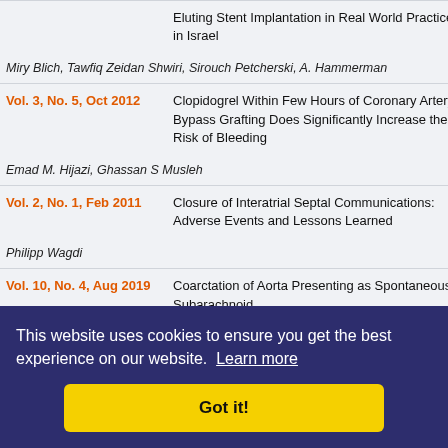| Volume/Issue | Article |
| --- | --- |
|  | Eluting Stent Implantation in Real World Practice in Israel |
|  | Miry Blich, Tawfiq Zeidan Shwiri, Sirouch Petcherski, A. Hammerman |
| Vol. 3, No. 5, Oct 2012 | Clopidogrel Within Few Hours of Coronary Artery Bypass Grafting Does Significantly Increase the Risk of Bleeding |
|  | Emad M. Hijazi, Ghassan S Musleh |
| Vol. 2, No. 1, Feb 2011 | Closure of Interatrial Septal Communications: Adverse Events and Lessons Learned |
|  | Philipp Wagdi |
| Vol. 10, No. 4, Aug 2019 | Coarctation of Aorta Presenting as Spontaneous Subarachnoid ... Female: A Clinical ... |
|  | Patil Shivam, shree, Tagat..., tha, Raj Sat... |
|  | ... and a ... |
| Feb 2015 | Parachute Mitral Valve in an Adult |
[Figure (other): Cookie consent banner with dark blue background. Text: 'This website uses cookies to ensure you get the best experience on our website. Learn more'. Yellow 'Got it!' button.]